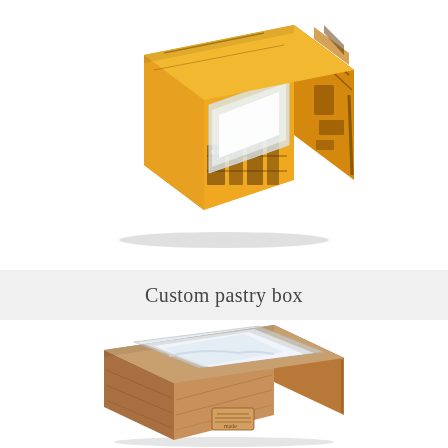[Figure (photo): Orange custom pastry box with architectural city print and transparent plastic window on front, viewed from a 3/4 angle perspective]
Custom pastry box
[Figure (photo): Kraft brown pastry box with transparent window on top and a small 'handmade' label tag on the front, viewed from slightly above at 3/4 angle, partially cropped at bottom]